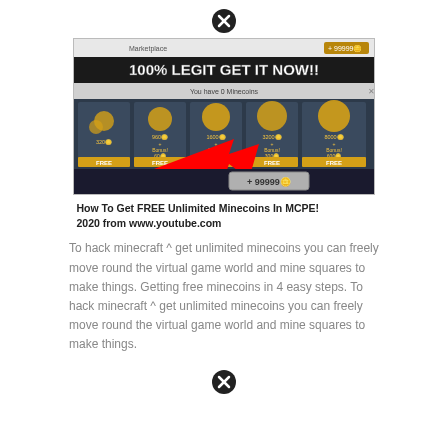[Figure (screenshot): Screenshot of a Minecraft marketplace showing '100% LEGIT GET IT NOW!!' with free minecoins and a red arrow pointing to +99999 coins button]
How To Get FREE Unlimited Minecoins In MCPE! 2020 from www.youtube.com
To hack minecraft ^ get unlimited minecoins you can freely move round the virtual game world and mine squares to make things. Getting free minecoins in 4 easy steps. To hack minecraft ^ get unlimited minecoins you can freely move round the virtual game world and mine squares to make things.